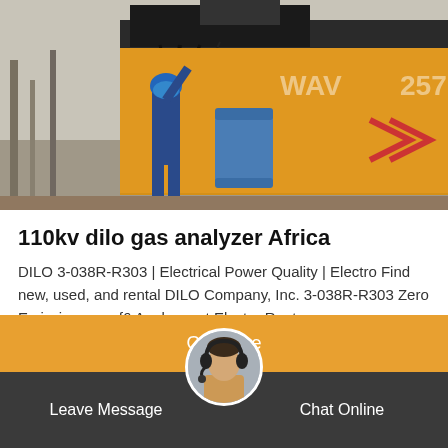[Figure (photo): Worker in blue hard hat working on yellow industrial truck/equipment with blue barrel visible, outdoor setting in Africa]
110kv dilo gas analyzer Africa
DILO 3-038R-R303 | Electrical Power Quality | Electro Find new, used, and rental DILO Company, Inc. 3-038R-R303 Zero Emission gaz sf6 Analyzer at Electro Rent
Get Price
Leave Message
Chat Online